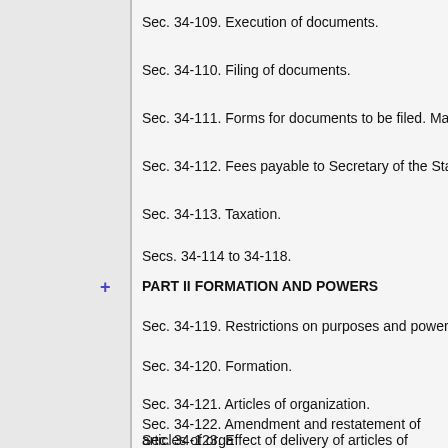Sec. 34-109. Execution of documents.
Sec. 34-110. Filing of documents.
Sec. 34-111. Forms for documents to be filed. Mailings.
Sec. 34-112. Fees payable to Secretary of the State. Sales tax
Sec. 34-113. Taxation.
Secs. 34-114 to 34-118.
PART II FORMATION AND POWERS
Sec. 34-119. Restrictions on purposes and powers of limited
Sec. 34-120. Formation.
Sec. 34-121. Articles of organization.
Sec. 34-122. Amendment and restatement of articles of orga
Sec. 34-123. Effect of delivery of articles of organization for endorsement.